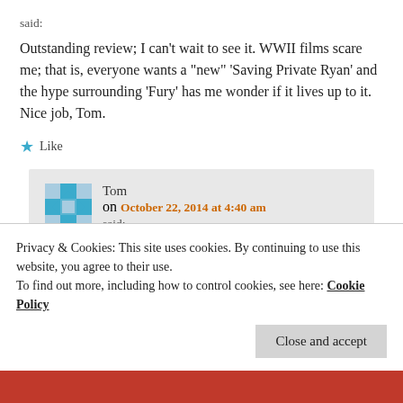said:
Outstanding review; I can't wait to see it. WWII films scare me; that is, everyone wants a "new" 'Saving Private Ryan' and the hype surrounding 'Fury' has me wonder if it lives up to it. Nice job, Tom.
Like
Tom on October 22, 2014 at 4:40 am said:
Privacy & Cookies: This site uses cookies. By continuing to use this website, you agree to their use.
To find out more, including how to control cookies, see here: Cookie Policy
Close and accept